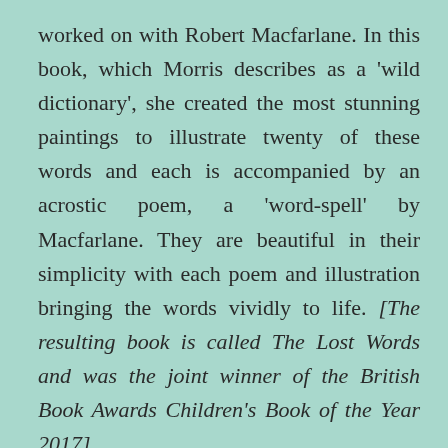worked on with Robert Macfarlane. In this book, which Morris describes as a 'wild dictionary', she created the most stunning paintings to illustrate twenty of these words and each is accompanied by an acrostic poem, a 'word-spell' by Macfarlane. They are beautiful in their simplicity with each poem and illustration bringing the words vividly to life. [The resulting book is called The Lost Words and was the joint winner of the British Book Awards Children's Book of the Year 2017]